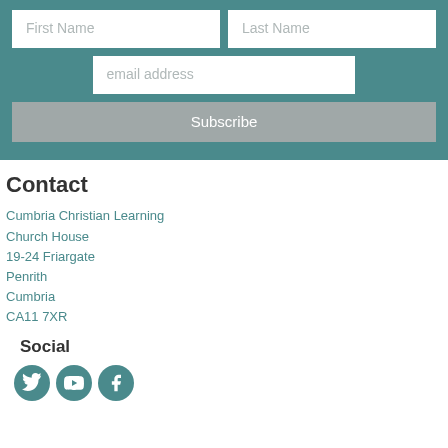[Figure (screenshot): Form with First Name and Last Name input fields, email address field, and Subscribe button on teal background]
Contact
Cumbria Christian Learning
Church House
19-24 Friargate
Penrith
Cumbria
CA11 7XR
Social
[Figure (illustration): Three circular social media icons: Twitter, YouTube, Facebook on teal background]